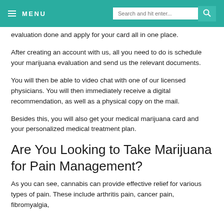MENU | Search and hit enter...
evaluation done and apply for your card all in one place.
After creating an account with us, all you need to do is schedule your marijuana evaluation and send us the relevant documents.
You will then be able to video chat with one of our licensed physicians. You will then immediately receive a digital recommendation, as well as a physical copy on the mail.
Besides this, you will also get your medical marijuana card and your personalized medical treatment plan.
Are You Looking to Take Marijuana for Pain Management?
As you can see, cannabis can provide effective relief for various types of pain. These include arthritis pain, cancer pain, fibromyalgia,